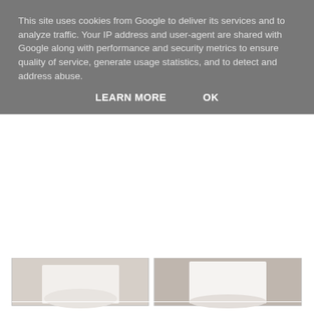This site uses cookies from Google to deliver its services and to analyze traffic. Your IP address and user-agent are shared with Google along with performance and security metrics to ensure quality of service, generate usage statistics, and to detect and address abuse.
LEARN MORE    OK
[Figure (photo): Two photos of white wedding dresses side by side, partially visible. Below the photos is an ad panel with a small thumbnail of wedding dresses on the left and a brown 'Shop Now' button on the right.]
About Me
Jo Bryan
View my complete profile
Powered by Blogger.